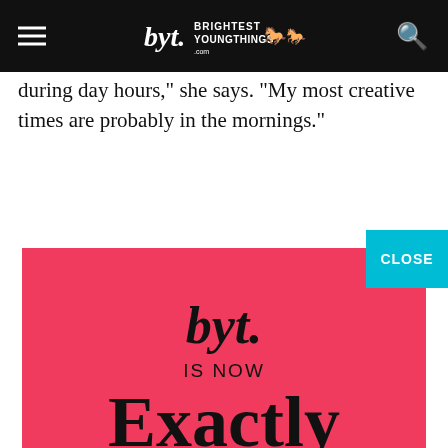BYT Brightest Young Things
during day hours," she says. "My most creative times are probably in the mornings."
[Figure (infographic): BYT (Brightest Young Things) is now Exactly agency advertisement on red/pink background. Shows byt. logo in script, 'IS NOW', 'Exactly' in large serif font, 'VISIT US AT WWW.EXACTLYAGENCY.COM']
[Figure (photo): Partial photo strip at bottom showing food and kitchen items]